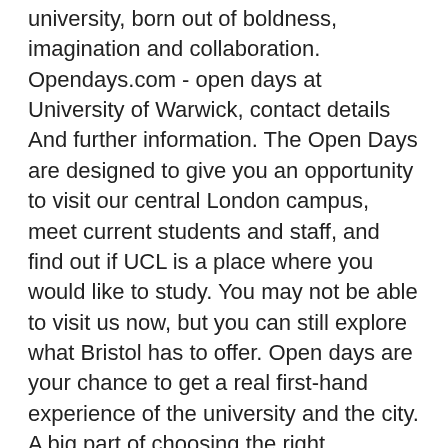university, born out of boldness, imagination and collaboration. Opendays.com - open days at University of Warwick, contact details And further information. The Open Days are designed to give you an opportunity to visit our central London campus, meet current students and staff, and find out if UCL is a place where you would like to study. You may not be able to visit us now, but you can still explore what Bristol has to offer. Open days are your chance to get a real first-hand experience of the university and the city. A big part of choosing the right university for you is going along to an open day. $35.71/quarter. (858) 454-0347. 07-Oct Virtual Open Days. The two open days for Warwick this summer are the 21 and 22 June, so be sure to make a note of these and come and see us for yourself! Take a tour first by attending a free